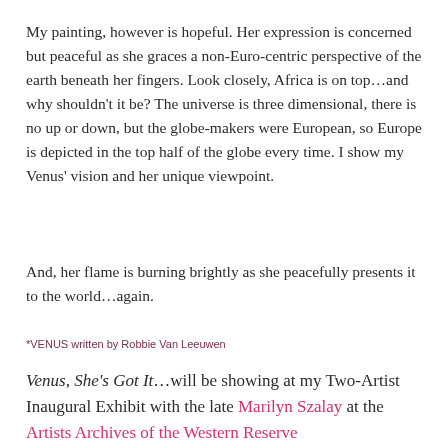My painting, however is hopeful. Her expression is concerned but peaceful as she graces a non-Euro-centric perspective of the earth beneath her fingers. Look closely, Africa is on top…and why shouldn't it be? The universe is three dimensional, there is no up or down, but the globe-makers were European, so Europe is depicted in the top half of the globe every time. I show my Venus' vision and her unique viewpoint.
And, her flame is burning brightly as she peacefully presents it to the world…again.
*VENUS written by Robbie Van Leeuwen
Venus, She's Got It…will be showing at my Two-Artist Inaugural Exhibit with the late Marilyn Szalay at the Artists Archives of the Western Reserve